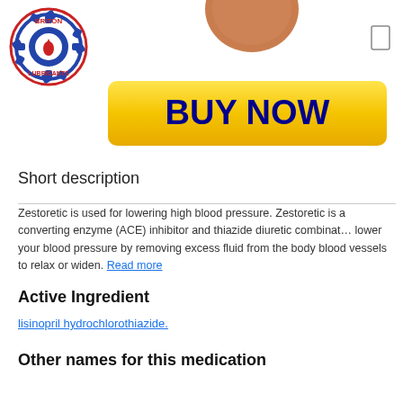[Figure (logo): Briton Lubricants circular logo with gear and oil drop design]
[Figure (photo): Partial view of a round tan/copper colored pill at top center]
[Figure (other): Empty checkbox rectangle at top right]
[Figure (other): Yellow gradient BUY NOW button with dark blue bold text]
Short description
Zestoretic is used for lowering high blood pressure. Zestoretic is a converting enzyme (ACE) inhibitor and thiazide diuretic combination. lower your blood pressure by removing excess fluid from the body blood vessels to relax or widen. Read more
Active Ingredient
lisinopril hydrochlorothiazide.
Other names for this medication